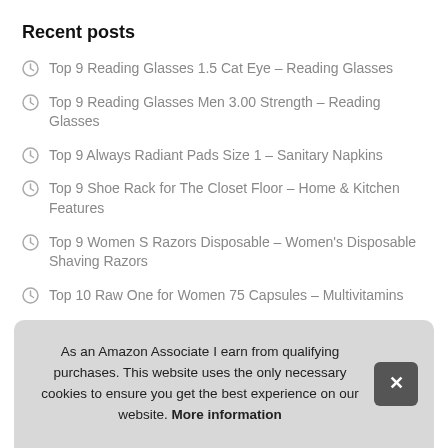Recent posts
Top 9 Reading Glasses 1.5 Cat Eye – Reading Glasses
Top 9 Reading Glasses Men 3.00 Strength – Reading Glasses
Top 9 Always Radiant Pads Size 1 – Sanitary Napkins
Top 9 Shoe Rack for The Closet Floor – Home & Kitchen Features
Top 9 Women S Razors Disposable – Women's Disposable Shaving Razors
Top 10 Raw One for Women 75 Capsules – Multivitamins
T
T ... Keto
As an Amazon Associate I earn from qualifying purchases. This website uses the only necessary cookies to ensure you get the best experience on our website. More information